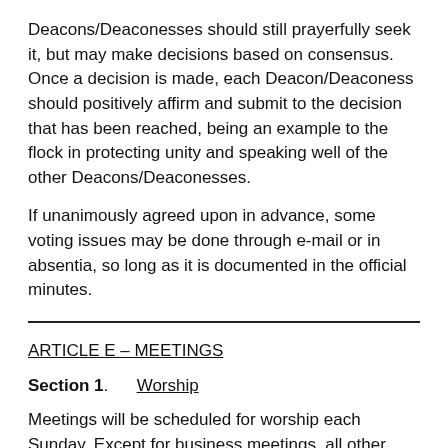Deacons/Deaconesses should still prayerfully seek it, but may make decisions based on consensus. Once a decision is made, each Deacon/Deaconess should positively affirm and submit to the decision that has been reached, being an example to the flock in protecting unity and speaking well of the other Deacons/Deaconesses.
If unanimously agreed upon in advance, some voting issues may be done through e-mail or in absentia, so long as it is documented in the official minutes.
ARTICLE E – MEETINGS
Section 1.    Worship
Meetings will be scheduled for worship each Sunday. Except for business meetings, all other meetings will be scheduled as agreed upon for purposes consistent with the overall